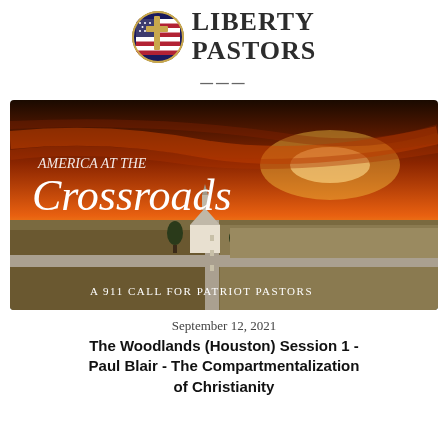[Figure (logo): Liberty Pastors logo: circular emblem with cross and American flag, next to text 'Liberty Pastors' in serif uppercase font]
[Figure (photo): Promotional image for 'America at the Crossroads' event. Aerial photograph of a rural crossroads with a white church and farm fields under a dramatic sunset sky. Text overlay reads: 'AMERICA AT THE Crossroads' and 'A 911 CALL FOR PATRIOT PASTORS']
September 12, 2021
The Woodlands (Houston) Session 1 - Paul Blair - The Compartmentalization of Christianity